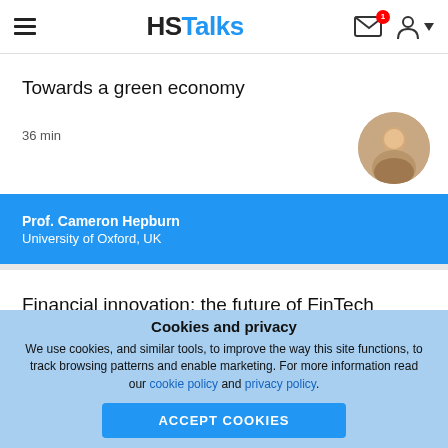HSTalks
Towards a green economy
36 min
Prof. Cameron Hepburn
University of Oxford, UK
Financial innovation: the future of FinTech
26 min
Cookies and privacy
We use cookies, and similar tools, to improve the way this site functions, to track browsing patterns and enable marketing. For more information read our cookie policy and privacy policy.
ACCEPT COOKIES